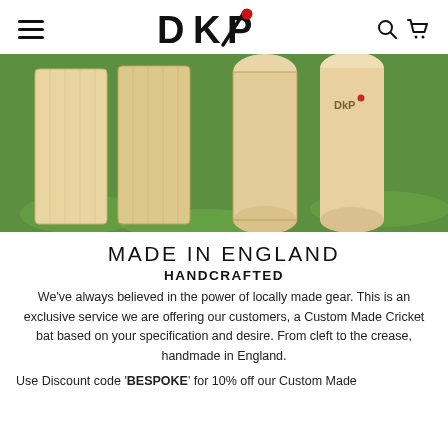DKP — navigation header with hamburger menu, DKP logo, search and cart icons
[Figure (photo): Cricket bat clefts (flat wooden blanks) and shaped bat handles lying on green grass, with DKP logo visible on one bat. Overhead/bird's eye view.]
MADE IN ENGLAND
HANDCRAFTED
We've always believed in the power of locally made gear. This is an exclusive service we are offering our customers, a Custom Made Cricket bat based on your specification and desire. From cleft to the crease, handmade in England.
Use Discount code 'BESPOKE' for 10% off our Custom Made